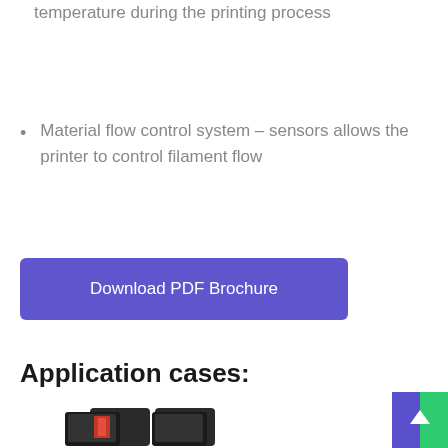temperature during the printing process
Material flow control system – sensors allows the printer to control filament flow
Download PDF Brochure
Application cases:
[Figure (photo): Photo showing application case items, partially visible at the bottom of the page]
[Figure (other): Back to top button with purple and green gradient square in bottom right corner]